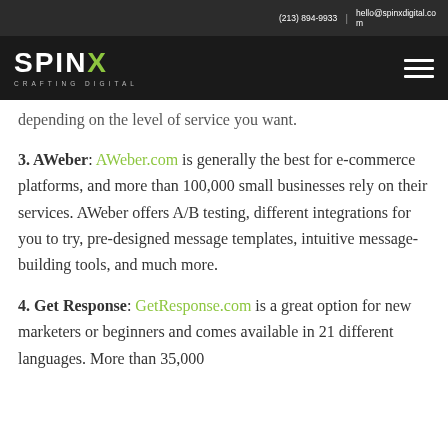(213) 894-9933 | hello@spinxdigital.com
[Figure (logo): SPINX Digital logo with tagline CRAFTING DIGITAL on dark background, with hamburger menu icon]
depending on the level of service you want.
3. AWeber: AWeber.com is generally the best for e-commerce platforms, and more than 100,000 small businesses rely on their services. AWeber offers A/B testing, different integrations for you to try, pre-designed message templates, intuitive message-building tools, and much more.
4. Get Response: GetResponse.com is a great option for new marketers or beginners and comes available in 21 different languages. More than 35,000